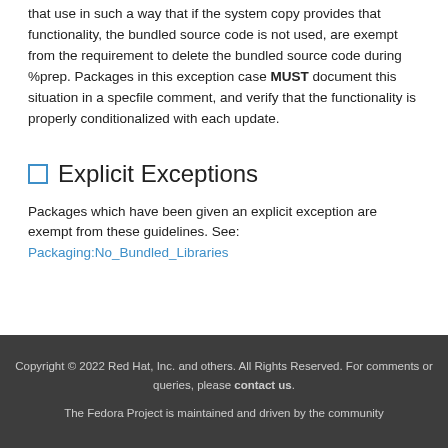that use in such a way that if the system copy provides that functionality, the bundled source code is not used, are exempt from the requirement to delete the bundled source code during %prep. Packages in this exception case MUST document this situation in a specfile comment, and verify that the functionality is properly conditionalized with each update.
Explicit Exceptions
Packages which have been given an explicit exception are exempt from these guidelines. See: Packaging:No_Bundled_Libraries
Copyright © 2022 Red Hat, Inc. and others. All Rights Reserved. For comments or queries, please contact us. The Fedora Project is maintained and driven by the community